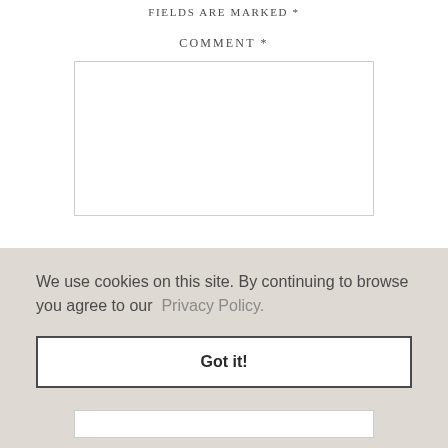FIELDS ARE MARKED *
COMMENT *
[Figure (screenshot): Empty comment text area input box with light grey border]
We use cookies on this site. By continuing to browse you agree to our Privacy Policy.
Got it!